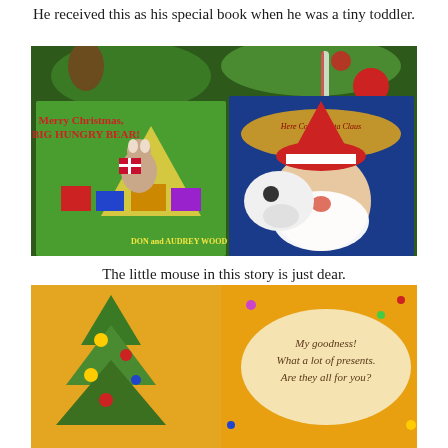He received this as his special book when he was a tiny toddler.
[Figure (photo): Two Christmas children's books displayed in front of a decorated Christmas tree: 'Merry Christmas, BIG HUNGRY BEAR!' by Don and Audrey Wood (left), and 'Here Comes Santa Claus' (right).]
The little mouse in this story is just dear.
[Figure (photo): Interior spread of a Christmas children's book showing illustrated Christmas tree with ornaments and text reading 'My goodness! What a lot of presents. Are they all for you?']